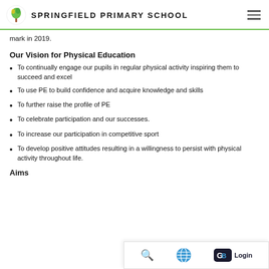SPRINGFIELD PRIMARY SCHOOL
mark in 2019.
Our Vision for Physical Education
To continually engage our pupils in regular physical activity inspiring them to succeed and excel
To use PE to build confidence and acquire knowledge and skills
To further raise the profile of PE
To celebrate participation and our successes.
To increase our participation in competitive sport
To develop positive attitudes resulting in a willingness to persist with physical activity throughout life.
Aims